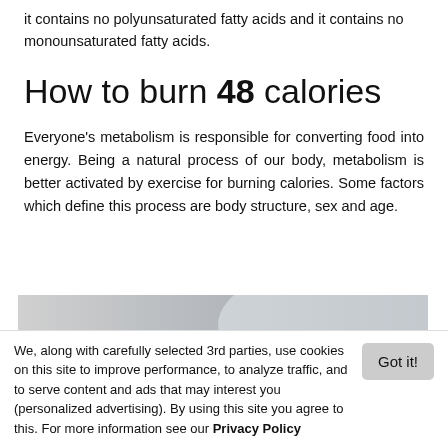it contains no polyunsaturated fatty acids and it contains no monounsaturated fatty acids.
How to burn 48 calories
Everyone's metabolism is responsible for converting food into energy. Being a natural process of our body, metabolism is better activated by exercise for burning calories. Some factors which define this process are body structure, sex and age.
[Figure (photo): A person bending over, showing their back, in an exercise or athletic context. The background is grey/light.]
We, along with carefully selected 3rd parties, use cookies on this site to improve performance, to analyze traffic, and to serve content and ads that may interest you (personalized advertising). By using this site you agree to this. For more information see our Privacy Policy